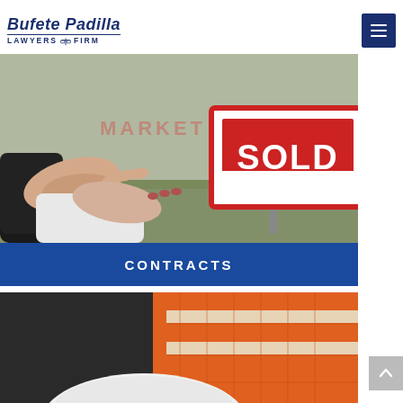Bufete Padilla LAWYERS FIRM
[Figure (photo): Two hands exchanging something in front of a SOLD real estate sign; contracts / real estate transaction scene]
CONTRACTS
[Figure (photo): Person wearing an orange safety vest and holding a white hard hat; construction / labor law scene]